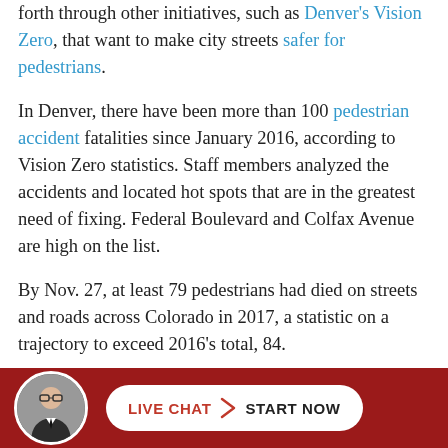forth through other initiatives, such as Denver's Vision Zero, that want to make city streets safer for pedestrians.
In Denver, there have been more than 100 pedestrian accident fatalities since January 2016, according to Vision Zero statistics. Staff members analyzed the accidents and located hot spots that are in the greatest need of fixing. Federal Boulevard and Colfax Avenue are high on the list.
By Nov. 27, at least 79 pedestrians had died on streets and roads across Colorado in 2017, a statistic on a trajectory to exceed 2016's total, 84.
More Denveright Plans
[Figure (other): Dark red footer bar with circular avatar photo of a man in a suit and tie, and a white pill-shaped button reading LIVE CHAT > START NOW in red and black text.]